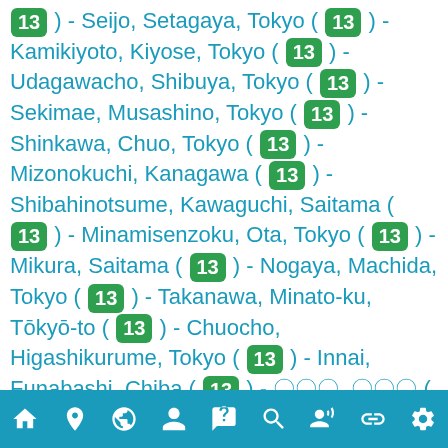13 ) - Seijo, Setagaya, Tokyo ( 13 ) - Kamikiyoto, Kiyose, Tokyo ( 13 ) - Udagawacho, Shibuya, Tokyo ( 13 ) - Sekimae, Musashino, Tokyo ( 13 ) - Shinkawa, Chuo, Tokyo ( 13 ) - Mizonokuchi, Kanagawa ( 13 ) - Shibahinotsume, Kawaguchi, Saitama ( 13 ) - Minamisenzoku, Ota, Tokyo ( 13 ) - Mikura, Saitama ( 13 ) - Nogaya, Machida, Tokyo ( 13 ) - Takanawa, Minato-ku, Tōkyō-to ( 13 ) - Chuocho, Higashikurume, Tokyo ( 13 ) - Innai, Funabashi, Chiba ( 13 ) - 〇〇〇, 〇〇〇 ( 13 ) - Higashimukojima, Sumida, Tokyo ( 13 ) - Tajimacho, Kanagawa ( 13 ) - Atago, Tama, Tokyo ( 13 ) - Kitamachi, Nerima, Tokyo ( 13 ) - Yutakacho, Shinagawa, Tokyo ( 13 ) - Minowa,
Navigation bar with icons: home, location, globe, person, FAQ, search, person-chat, link, settings